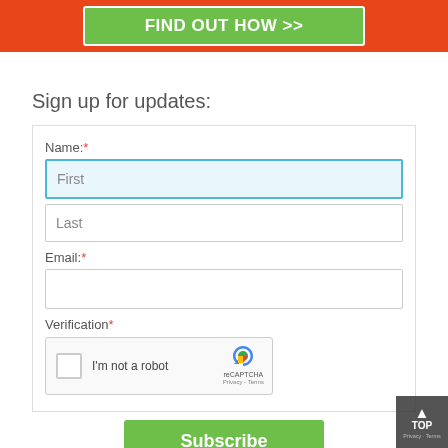[Figure (other): Orange banner with green 'FIND OUT HOW >>' button]
Sign up for updates:
Name: *
First (input field)
Last (input field)
Email: *
Email input field
Verification *
[Figure (other): reCAPTCHA widget with checkbox and 'I'm not a robot' text]
Subscribe button